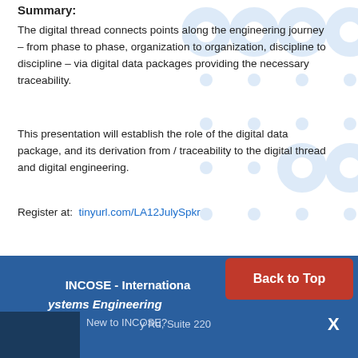Summary:
The digital thread connects points along the engineering journey – from phase to phase, organization to organization, discipline to discipline – via digital data packages providing the necessary traceability.
This presentation will establish the role of the digital data package, and its derivation from / traceability to the digital thread and digital engineering.
Register at:  tinyurl.com/LA12JulySpkr
INCOSE - International Council on Systems Engineering | New to INCOSE? | Back to Top | Rd, Suite 220